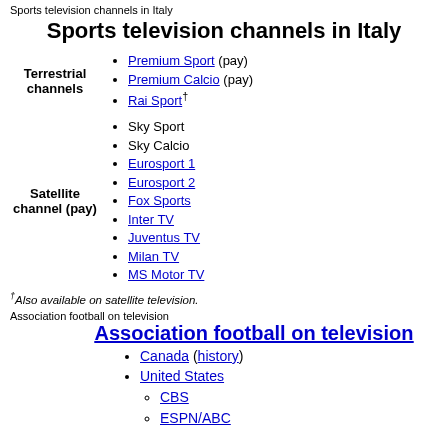Sports television channels in Italy
Sports television channels in Italy
| Category | Channels |
| --- | --- |
| Terrestrial channels | Premium Sport (pay)
Premium Calcio (pay)
Rai Sport† |
| Satellite channel (pay) | Sky Sport
Sky Calcio
Eurosport 1
Eurosport 2
Fox Sports
Inter TV
Juventus TV
Milan TV
MS Motor TV |
†Also available on satellite television.
Association football on television
Association football on television
Canada (history)
United States
CBS
ESPN/ABC